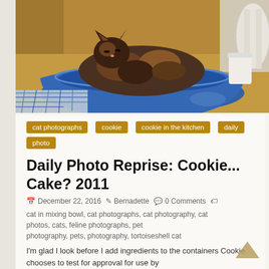[Figure (photo): A tortoiseshell cat sitting inside a large blue mixing bowl on a wooden table. A blue and white checkered cloth is visible in the foreground. A white chair is visible in the background.]
cat photographs
cookie
cookie in the kitchen
daily photo
Daily Photo Reprise: Cookie... Cake? 2011
December 22, 2016  Bernadette  0 Comments  cat in mixing bowl, cat photographs, cat photography, cat photos, cats, feline photographs, pet photography, pets, photography, tortoiseshell cat
I'm glad I look before I add ingredients to the containers Cookie chooses to test for approval for use by…